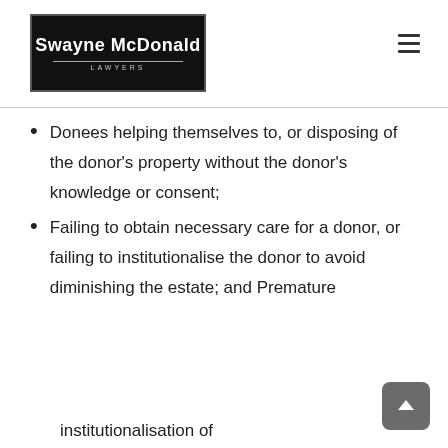Swayne McDonald LAWYERS
Donees helping themselves to, or disposing of the donor's property without the donor's knowledge or consent;
Failing to obtain necessary care for a donor, or failing to institutionalise the donor to avoid diminishing the estate; and Premature
institutionalisation of...